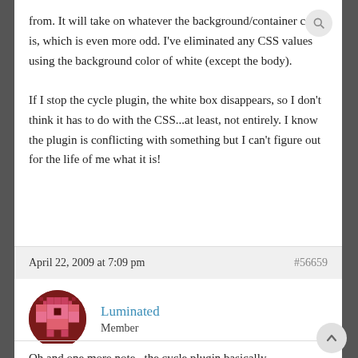from. It will take on whatever the background/container color is, which is even more odd. I've eliminated any CSS values using the background color of white (except the body).
If I stop the cycle plugin, the white box disappears, so I don't think it has to do with the CSS...at least, not entirely. I know the plugin is conflicting with something but I can't figure out for the life of me what it is!
April 22, 2009 at 7:09 pm
#56659
Luminated
Member
[Figure (illustration): Pixel art avatar with dark red and pink colors on circular background]
Oh and one more note...the cycle plugin basically